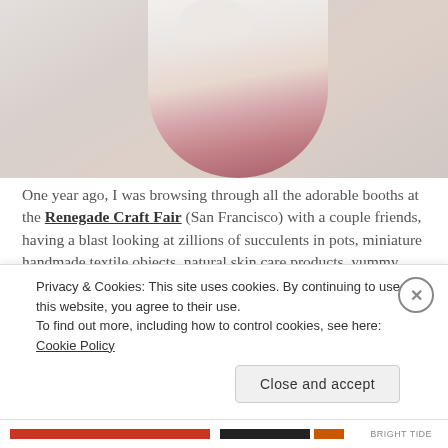[Figure (photo): Woman in white and pink ombre dress/cardigan holding a small bowl or cup, photographed against a light grey background]
One year ago, I was browsing through all the adorable booths at the Renegade Craft Fair (San Francisco) with a couple friends, having a blast looking at zillions of succulents in pots, miniature handmade textile objects, natural skin care products, yummy snacks, quirky inventions involving bicycles, craft ferments, and feeling
Privacy & Cookies: This site uses cookies. By continuing to use this website, you agree to their use.
To find out more, including how to control cookies, see here: Cookie Policy
Close and accept